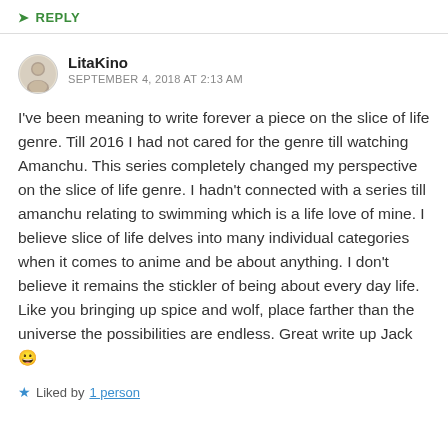↳ REPLY
LitaKino
SEPTEMBER 4, 2018 AT 2:13 AM
I've been meaning to write forever a piece on the slice of life genre. Till 2016 I had not cared for the genre till watching Amanchu. This series completely changed my perspective on the slice of life genre. I hadn't connected with a series till amanchu relating to swimming which is a life love of mine. I believe slice of life delves into many individual categories when it comes to anime and be about anything. I don't believe it remains the stickler of being about every day life. Like you bringing up spice and wolf, place farther than the universe the possibilities are endless. Great write up Jack 😀
★ Liked by 1 person